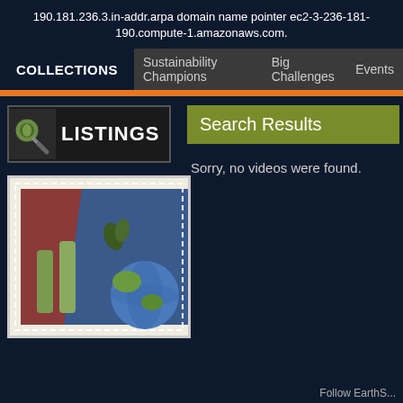190.181.236.3.in-addr.arpa domain name pointer ec2-3-236-181-190.compute-1.amazonaws.com.
COLLECTIONS   Sustainability Champions   Big Challenges   Events
[Figure (logo): Listings banner with magnifier icon and LISTINGS text]
Search Results
Sorry, no videos were found.
[Figure (illustration): Postage stamp illustration showing hands holding a globe with leaves and blue background]
Follow EarthS...